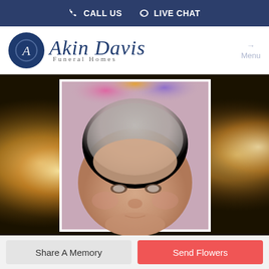CALL US   LIVE CHAT
[Figure (logo): Akin Davis Funeral Homes logo with circular emblem containing stylized A letter on dark blue background, with italic script text 'Akin Davis' and smaller text 'Funeral Homes']
[Figure (photo): Portrait photo of an elderly woman with short gray hair, shown from shoulders up, set against a blurred candlelight background. The portrait is framed in white on a warm candlelit background.]
Share A Memory
Send Flowers